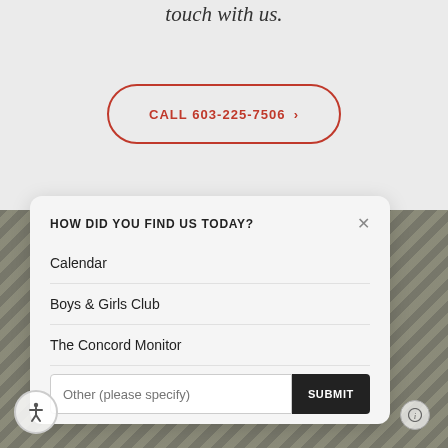touch with us.
CALL 603-225-7506 >
SEND US A MESSAGE >
HOW DID YOU FIND US TODAY?
Calendar
Boys & Girls Club
The Concord Monitor
Other (please specify)
SUBMIT